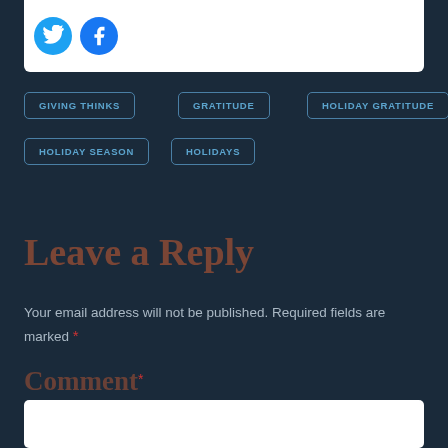[Figure (logo): Twitter and Facebook social icons (circular blue buttons)]
GIVING THINKS
GRATITUDE
HOLIDAY GRATITUDE
HOLIDAY SEASON
HOLIDAYS
Leave a Reply
Your email address will not be published. Required fields are marked *
Comment *